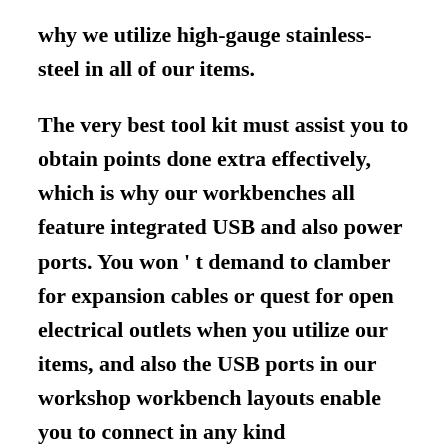why we utilize high-gauge stainless-steel in all of our items.
The very best tool kit must assist you to obtain points done extra effectively, which is why our workbenches all feature integrated USB and also power ports. You won ' t demand to clamber for expansion cables or quest for open electrical outlets when you utilize our items, and also the USB ports in our workshop workbench layouts enable you to connect in any kind